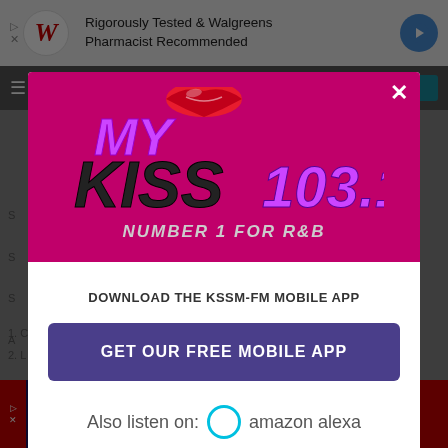[Figure (screenshot): Top advertisement banner: Walgreens logo with text 'Rigorously Tested & Walgreens Pharmacist Recommended']
[Figure (logo): My Kiss 103.1 - Number 1 for R&B radio station logo on magenta background]
DOWNLOAD THE KSSM-FM MOBILE APP
GET OUR FREE MOBILE APP
Also listen on:  amazon alexa
[Figure (screenshot): Bottom advertisement: 'Your next hotel is waiting for you' with hotel image]